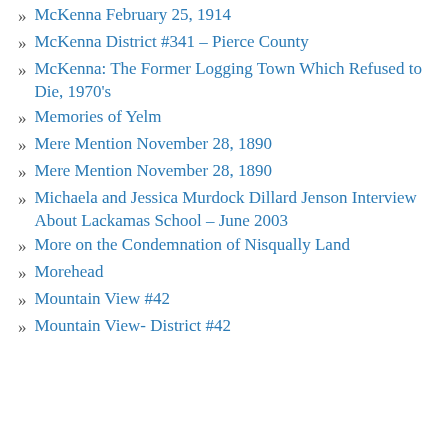McKenna February 25, 1914
McKenna District #341 – Pierce County
McKenna: The Former Logging Town Which Refused to Die, 1970's
Memories of Yelm
Mere Mention November 28, 1890
Mere Mention November 28, 1890
Michaela and Jessica Murdock Dillard Jenson Interview About Lackamas School – June 2003
More on the Condemnation of Nisqually Land
Morehead
Mountain View #42
Mountain View- District #42